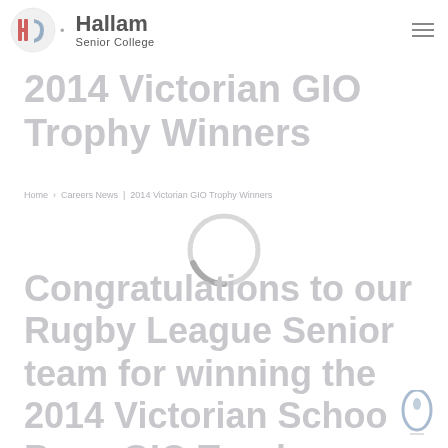Hallam Senior College
2014 Victorian GIO Trophy Winners
Home > Careers News | 2014 Victorian GIO Trophy Winners
[Figure (other): Loading spinner / ring icon (light grey circle with darker grey arc at bottom)]
Congratulations to our Rugby League Senior team for winning the 2014 Victorian Schoo Boys GIO Trophy